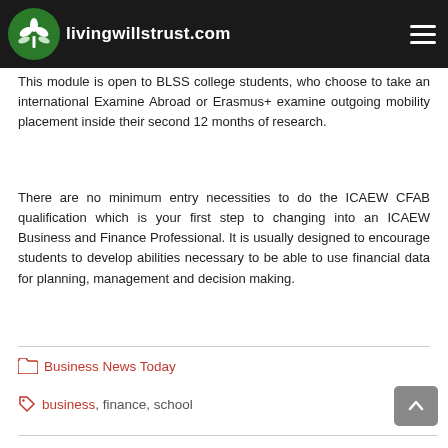livingwillstrust.com
This module is open to BLSS college students, who choose to take an international Examine Abroad or Erasmus+ examine outgoing mobility placement inside their second 12 months of research.
There are no minimum entry necessities to do the ICAEW CFAB qualification which is your first step to changing into an ICAEW Business and Finance Professional. It is usually designed to encourage students to develop abilities necessary to be able to use financial data for planning, management and decision making.
Business News Today
business, finance, school